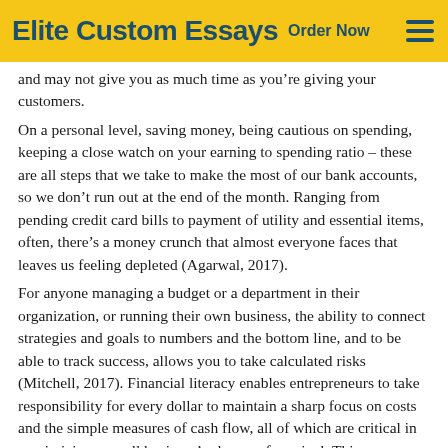Elite Custom Essays  Order Now
and may not give you as much time as you're giving your customers.
On a personal level, saving money, being cautious on spending, keeping a close watch on your earning to spending ratio – these are all steps that we take to make the most of our bank accounts, so we don’t run out at the end of the month. Ranging from pending credit card bills to payment of utility and essential items, often, there’s a money crunch that almost everyone faces that leaves us feeling depleted (Agarwal, 2017).
For anyone managing a budget or a department in their organization, or running their own business, the ability to connect strategies and goals to numbers and the bottom line, and to be able to track success, allows you to take calculated risks (Mitchell, 2017). Financial literacy enables entrepreneurs to take responsibility for every dollar to maintain a sharp focus on costs and the simple measures of cash flow, all of which are critical in maximizing a small business’s chance of survival. This knowledge will also make you better able to deal with the professionals whose job it is to assure the integrity of your